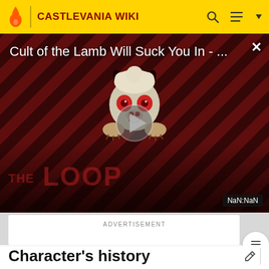CASTLEVANIA WIKI
[Figure (screenshot): Video advertisement thumbnail for 'Cult of the Lamb Will Suck You In - ...' with a diagonal red/dark stripe background, a cartoon demon mascot character, a play button, 'THE LOOP' branding text, a close (X) button, and a 'NaN:NaN' time badge in the bottom right.]
ADVERTISEMENT
Character's history
Renon, an enterprising demon with gentlemanly manners,